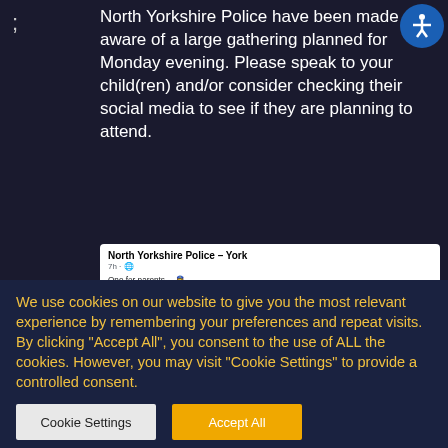; North Yorkshire Police have been made aware of a large gathering planned for Monday evening. Please speak to your child(ren) and/or consider checking their social media to see if they are planning to attend.
[Figure (screenshot): Facebook post from North Yorkshire Police – York (7h): One for parents… We've been made aware of a gathering expected to take place on Monday night in York. It's been circulating on social media, drawing interest from predominantly teenagers in the local area and seems to be gaining momentum. The safety and quality of life of our local residents is something we take very seriously and we won't allow this gathering to get out of hand. We'll have a large policing presence in the area on Monday night and we will be dealing robustly with anyone committing any offences so we're asking parents to please make sure you know where your children are. No one wants to start the new school year while facing the consequences of police action – let's all work together to keep our communities safe.]
We use cookies on our website to give you the most relevant experience by remembering your preferences and repeat visits. By clicking "Accept All", you consent to the use of ALL the cookies. However, you may visit "Cookie Settings" to provide a controlled consent.